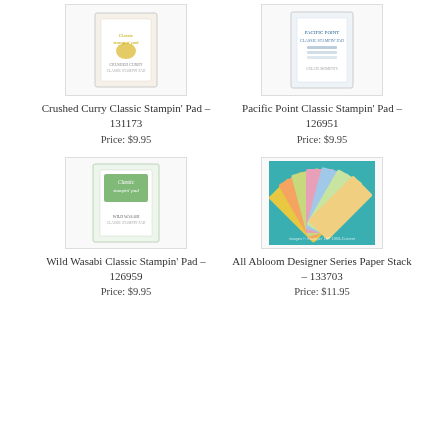[Figure (photo): Crushed Curry Classic Stampin' Pad product image]
Crushed Curry Classic Stampin' Pad – 131173
Price: $9.95
[Figure (photo): Pacific Point Classic Stampin' Pad product image]
Pacific Point Classic Stampin' Pad – 126951
Price: $9.95
[Figure (photo): Wild Wasabi Classic Stampin' Pad product image]
Wild Wasabi Classic Stampin' Pad – 126959
Price: $9.95
[Figure (photo): All Abloom Designer Series Paper Stack product image]
All Abloom Designer Series Paper Stack – 133703
Price: $11.95